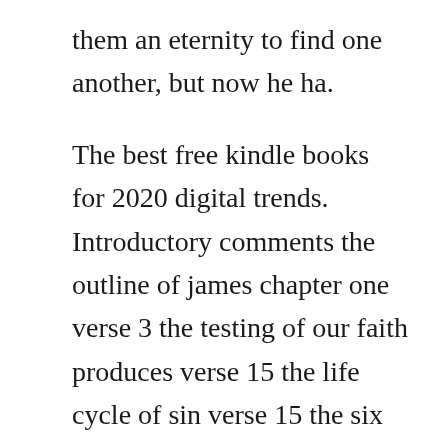them an eternity to find one another, but now he ha.
The best free kindle books for 2020 digital trends. Introductory comments the outline of james chapter one verse 3 the testing of our faith produces verse 15 the life cycle of sin verse 15 the six steps of sin verse. Its hard to believe, but one out of every seventeen hardcover novels sold in the united states is a book authored by james patterson. Kate s not the type to lose it over a guy so she s appalled by her mom s summer p. Kate james author of